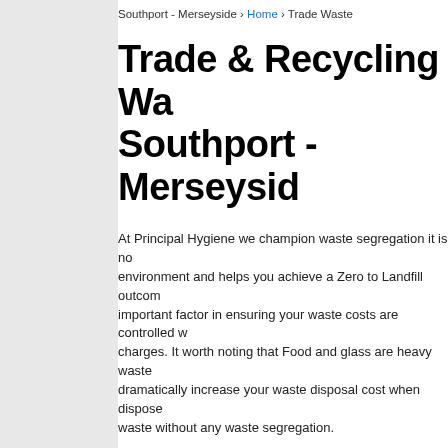Southport - Merseyside › Home › Trade Waste
Trade & Recycling Waste Southport - Merseyside
At Principal Hygiene we champion waste segregation it is not only better for the environment and helps you achieve a Zero to Landfill outcome but it is also an important factor in ensuring your waste costs are controlled with lower disposal charges. It worth noting that Food and glass are heavy waste streams that can dramatically increase your waste disposal cost when disposed of as general waste without any waste segregation.
By segregating your waste i.e. general, glass, food, cardboard etc, we can offer a dedicated collection service for each type of waste your prod
1. Save on your waste costs in Southport
2. Become a zero to landfill business
3. Help save the environment